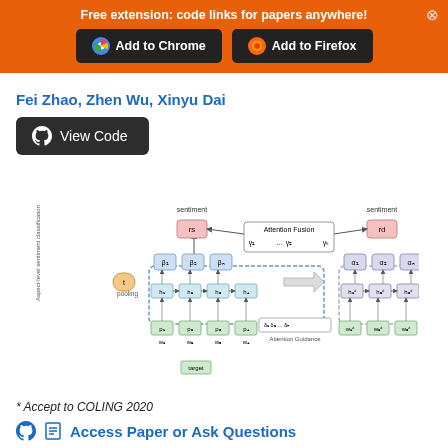Free extension: code links for papers anywhere!
Add to Chrome   Add to Firefox
Fei Zhao, Zhen Wu, Xinyu Dai
View Code
[Figure (flowchart): Neural network architecture diagram showing aspect-level sentiment classification with attention fusion and pre-trained sentiment classification components, including pooling layers, attention guidance, and bidirectional connections.]
* Accept to COLING 2020
Access Paper or Ask Questions